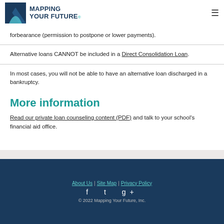Mapping Your Future
forbearance (permission to postpone or lower payments).
Alternative loans CANNOT be included in a Direct Consolidation Loan.
In most cases, you will not be able to have an alternative loan discharged in a bankruptcy.
More information
Read our private loan counseling content (PDF) and talk to your school's financial aid office.
About Us | Site Map | Privacy Policy
© 2022 Mapping Your Future, Inc.